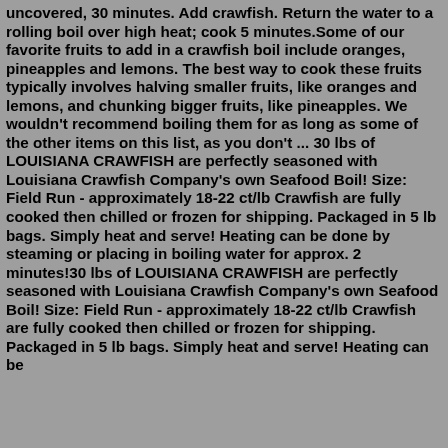uncovered, 30 minutes. Add crawfish. Return the water to a rolling boil over high heat; cook 5 minutes.Some of our favorite fruits to add in a crawfish boil include oranges, pineapples and lemons. The best way to cook these fruits typically involves halving smaller fruits, like oranges and lemons, and chunking bigger fruits, like pineapples. We wouldn't recommend boiling them for as long as some of the other items on this list, as you don't ... 30 lbs of LOUISIANA CRAWFISH are perfectly seasoned with Louisiana Crawfish Company's own Seafood Boil! Size: Field Run - approximately 18-22 ct/lb Crawfish are fully cooked then chilled or frozen for shipping. Packaged in 5 lb bags. Simply heat and serve! Heating can be done by steaming or placing in boiling water for approx. 2 minutes!30 lbs of LOUISIANA CRAWFISH are perfectly seasoned with Louisiana Crawfish Company's own Seafood Boil! Size: Field Run - approximately 18-22 ct/lb Crawfish are fully cooked then chilled or frozen for shipping. Packaged in 5 lb bags. Simply heat and serve! Heating can be